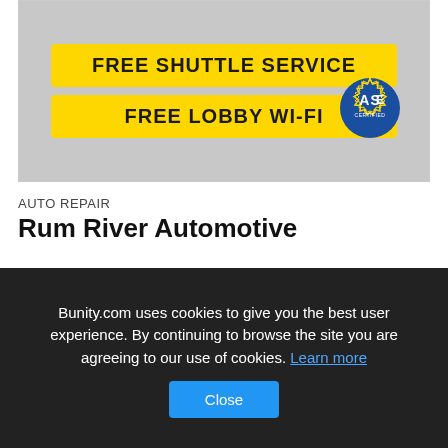[Figure (photo): Yellow banners advertising FREE SHUTTLE SERVICE and FREE LOBBY WI-FI with ASE certified badge on grey background]
AUTO REPAIR
Rum River Automotive
[Figure (other): Partial card/image placeholder at bottom of listing]
Bunity.com uses cookies to give you the best user experience. By continuing to browse the site you are agreeing to our use of cookies. Learn more
Close